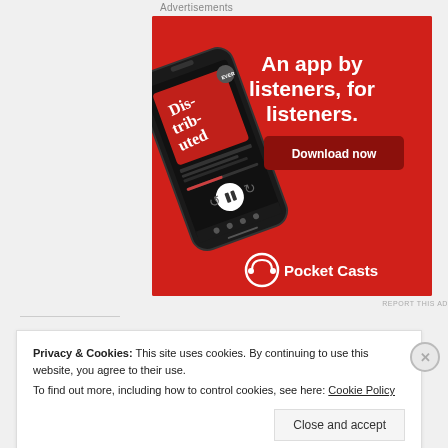Advertisements
[Figure (photo): Pocket Casts app advertisement on red background showing a smartphone with 'Distributed' podcast, text 'An app by listeners, for listeners.' and a Download now button with Pocket Casts logo]
REPORT THIS AD
Privacy & Cookies: This site uses cookies. By continuing to use this website, you agree to their use.
To find out more, including how to control cookies, see here: Cookie Policy
Close and accept